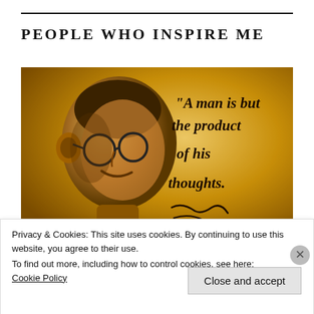PEOPLE WHO INSPIRE ME
[Figure (photo): Sepia-toned photograph of Mahatma Gandhi with cursive text overlay reading: "A man is but the product of his thoughts." with a signature below]
Privacy & Cookies: This site uses cookies. By continuing to use this website, you agree to their use.
To find out more, including how to control cookies, see here: Cookie Policy
Close and accept